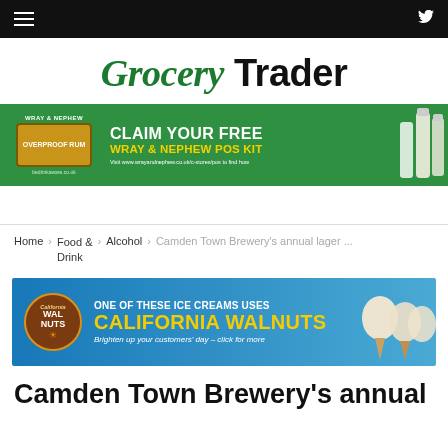Grocery Trader — navigation header with hamburger menu and Twitter icon
Grocery Trader
[Figure (infographic): Wray & Nephew green banner ad: CLAIM YOUR FREE WRAY & NEPHEW POS KIT. Visit www.wrayandnephew.co.uk/c-stores/pos to find how. bedrinkaware.co.uk]
Home > Food & Drink > Alcohol > Camden Town Brewery's annual lager ...
[Figure (infographic): California Walnuts blue banner ad: ONE OF THESE ICE CREAMS USES CALIFORNIA WALNUTS. Brighten up your customers' day – click for more]
Camden Town Brewery's annual